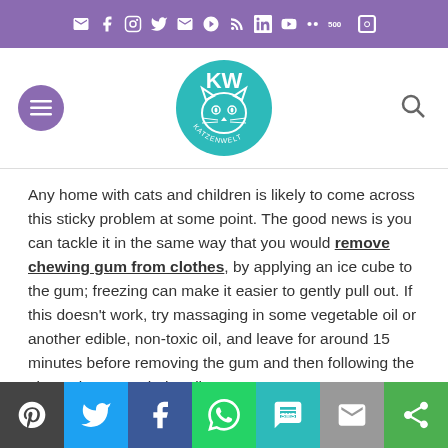Social media icon bar (email, facebook, instagram, twitter, email, pinterest, rss, linkedin, youtube, 500px, vk icons)
[Figure (logo): Katzenwelt cat blog logo — teal circle with cartoon cat face and 'KW' text, 'KATZENWELT' around bottom]
Any home with cats and children is likely to come across this sticky problem at some point. The good news is you can tackle it in the same way that you would remove chewing gum from clothes, by applying an ice cube to the gum; freezing can make it easier to gently pull out. If this doesn't work, try massaging in some vegetable oil or another edible, non-toxic oil, and leave for around 15 minutes before removing the gum and then following the above tips to wash the oil away.
Glue or resin
[Figure (infographic): Share bar with icons: WordPress (dark), Twitter (blue), Facebook (dark blue), WhatsApp (green), SMS (teal), Email (grey), Share (green)]